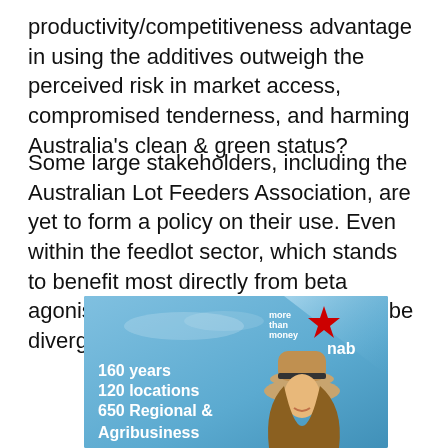productivity/competitiveness advantage in using the additives outweigh the perceived risk in market access, compromised tenderness, and harming Australia's clean & green status?
Some large stakeholders, including the Australian Lot Feeders Association, are yet to form a policy on their use. Even within the feedlot sector, which stands to benefit most directly from beta agonist adoption, opinions appear to be divergent.
[Figure (photo): NAB bank advertisement with sky background, person wearing a hat, featuring text: 'more than money', 'nab' logo with red star, '160 years', '120 locations', '650 Regional & Agribusiness']